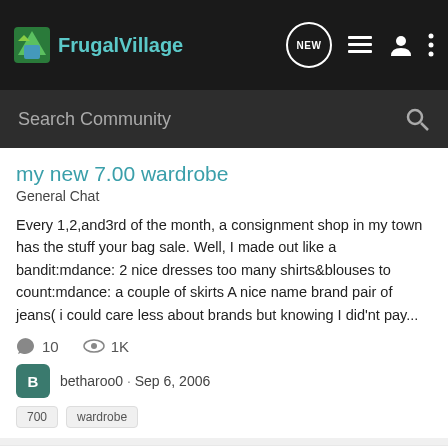FrugalVillage
Search Community
my new 7.00 wardrobe
General Chat
Every 1,2,and3rd of the month, a consignment shop in my town has the stuff your bag sale. Well, I made out like a bandit:mdance: 2 nice dresses too many shirts&blouses to count:mdance: a couple of skirts A nice name brand pair of jeans( i could care less about brands but knowing I did'nt pay...
10  1K
betharoo0 · Sep 6, 2006
700  wardrobe
Working on a frugal wardrobe, since I'm almost